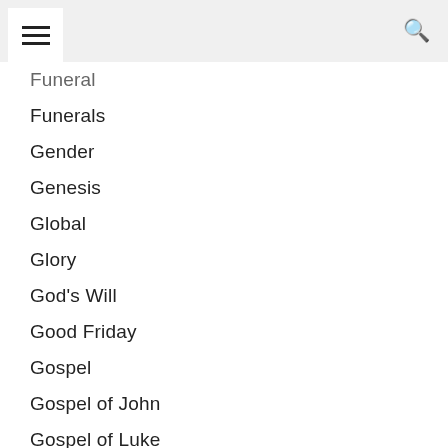☰  🔍
Funeral
Funerals
Gender
Genesis
Global
Glory
God's Will
Good Friday
Gospel
Gospel of John
Gospel of Luke
Gospel of Mark
Gospel of Matthew
Grace
Gratitude